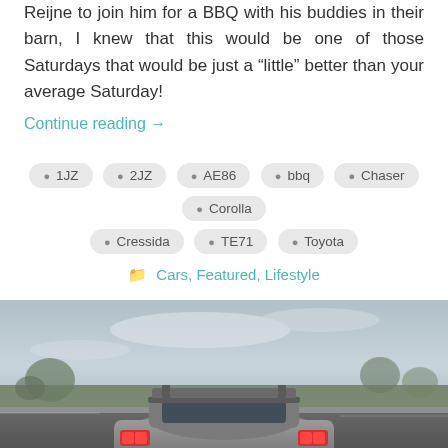Reijne to join him for a BBQ with his buddies in their barn, I knew that this would be one of those Saturdays that would be just a “little” better than your average Saturday!
Continue reading →
1JZ
2JZ
AE86
bbq
Chaser
Corolla
Cressida
TE71
Toyota
Cars, Featured, Lifestyle
[Figure (photo): A silver/grey Toyota Supra sports car photographed from behind at an angle, driving on a highway road. Trees are visible in the background with a cloudy sky. The car has a prominent rear spoiler and a yellow license plate.]